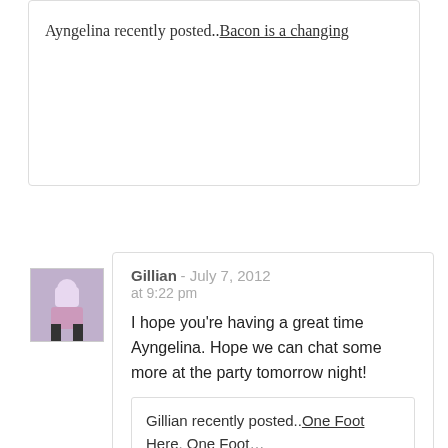Ayngelina recently posted..Bacon is a changing
[Figure (photo): Avatar photo of Gillian, a person standing on steps]
Gillian - July 7, 2012 at 9:22 pm
I hope you're having a great time Ayngelina. Hope we can chat some more at the party tomorrow night!
Gillian recently posted..One Foot Here, One Foot...